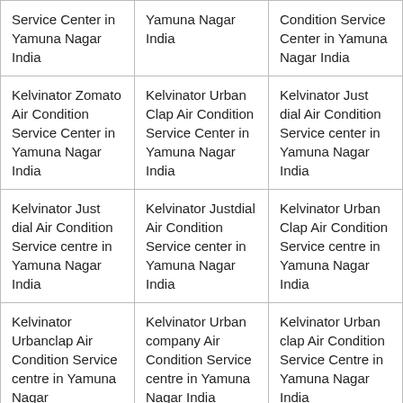| Service Center in Yamuna Nagar India | Yamuna Nagar India | Condition Service Center in Yamuna Nagar India |
| Kelvinator Zomato Air Condition Service Center in Yamuna Nagar India | Kelvinator Urban Clap Air Condition Service Center in Yamuna Nagar India | Kelvinator Just dial Air Condition Service center in Yamuna Nagar India |
| Kelvinator Just dial Air Condition Service centre in Yamuna Nagar India | Kelvinator Justdial Air Condition Service center in Yamuna Nagar India | Kelvinator Urban Clap Air Condition Service centre in Yamuna Nagar India |
| Kelvinator Urbanclap Air Condition Service centre in Yamuna Nagar | Kelvinator Urban company Air Condition Service centre in Yamuna Nagar India | Kelvinator Urban clap Air Condition Service Centre in Yamuna Nagar India |